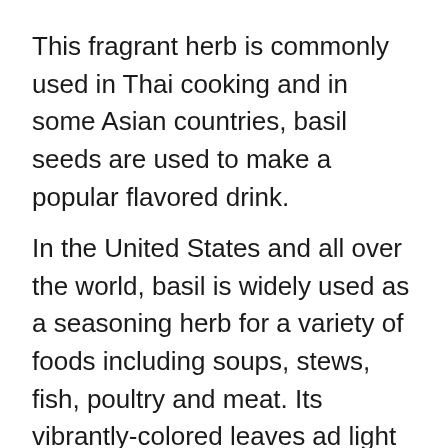This fragrant herb is commonly used in Thai cooking and in some Asian countries, basil seeds are used to make a popular flavored drink.
In the United States and all over the world, basil is widely used as a seasoning herb for a variety of foods including soups, stews, fish, poultry and meat. Its vibrantly-colored leaves ad light flavor make it a popular addition to vegetable salads such as Italian panzanella as well as sweet, fruit salads.